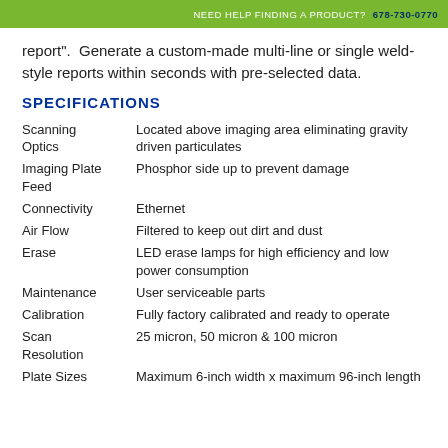NEED HELP FINDING A PRODUCT? 678-730-0770
report".  Generate a custom-made multi-line or single weld-style reports within seconds with pre-selected data.
SPECIFICATIONS
| Feature | Description |
| --- | --- |
| Scanning Optics | Located above imaging area eliminating gravity driven particulates |
| Imaging Plate Feed | Phosphor side up to prevent damage |
| Connectivity | Ethernet |
| Air Flow | Filtered to keep out dirt and dust |
| Erase | LED erase lamps for high efficiency and low power consumption |
| Maintenance | User serviceable parts |
| Calibration | Fully factory calibrated and ready to operate |
| Scan Resolution | 25 micron, 50 micron & 100 micron |
| Plate Sizes | Maximum 6-inch width x maximum 96-inch length |